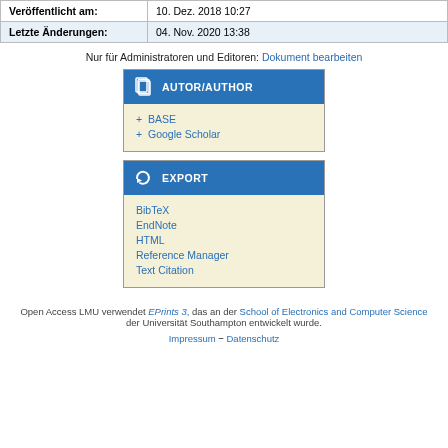|  |  |
| --- | --- |
| Veröffentlicht am: | 10. Dez. 2018 10:27 |
| Letzte Änderungen: | 04. Nov. 2020 13:38 |
Nur für Administratoren und Editoren: Dokument bearbeiten
[Figure (infographic): AUTOR/AUTHOR widget box with links to BASE and Google Scholar]
[Figure (infographic): EXPORT widget box with links to BibTeX, EndNote, HTML, Reference Manager, Text Citation]
Open Access LMU verwendet EPrints 3, das an der School of Electronics and Computer Science der Universität Southampton entwickelt wurde.
Impressum − Datenschutz